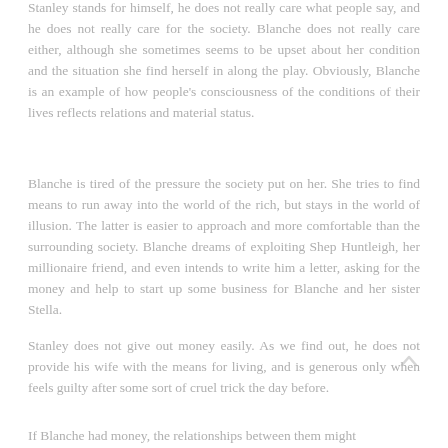Stanley stands for himself, he does not really care what people say, and he does not really care for the society. Blanche does not really care either, although she sometimes seems to be upset about her condition and the situation she find herself in along the play. Obviously, Blanche is an example of how people's consciousness of the conditions of their lives reflects relations and material status.
Blanche is tired of the pressure the society put on her. She tries to find means to run away into the world of the rich, but stays in the world of illusion. The latter is easier to approach and more comfortable than the surrounding society. Blanche dreams of exploiting Shep Huntleigh, her millionaire friend, and even intends to write him a letter, asking for the money and help to start up some business for Blanche and her sister Stella.
Stanley does not give out money easily. As we find out, he does not provide his wife with the means for living, and is generous only when feels guilty after some sort of cruel trick the day before.
If Blanche had money, the relationships between them might